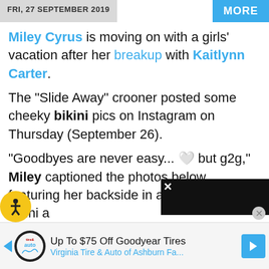FRI, 27 SEPTEMBER 2019
Miley Cyrus is moving on with a girls' vacation after her breakup with Kaitlynn Carter.
The "Slide Away" crooner posted some cheeky bikini pics on Instagram on Thursday (September 26).
"Goodbyes are never easy... 🤍 but g2g," Miley captioned the photos below, featuring her backside in a black thong bikini a
[Figure (infographic): Advertisement banner: Up To $75 Off Goodyear Tires - Virginia Tire & Auto of Ashburn Fa...]